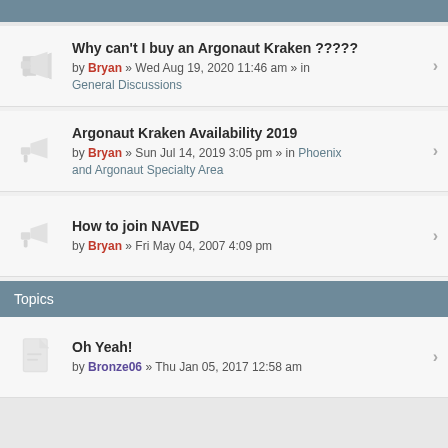Why can't I buy an Argonaut Kraken ????? by Bryan » Wed Aug 19, 2020 11:46 am » in General Discussions
Argonaut Kraken Availability 2019 by Bryan » Sun Jul 14, 2019 3:05 pm » in Phoenix and Argonaut Specialty Area
How to join NAVED by Bryan » Fri May 04, 2007 4:09 pm
Topics
Oh Yeah! by Bronze06 » Thu Jan 05, 2017 12:58 am